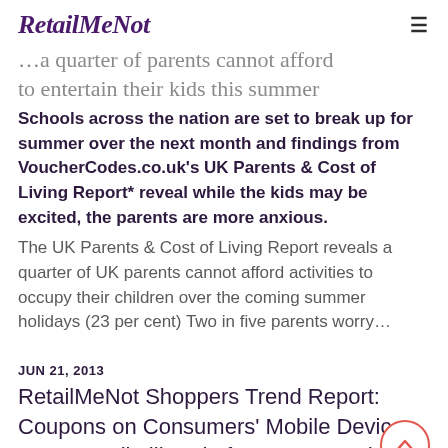RetailMeNot
…a quarter of parents cannot afford to entertain their kids this summer
Schools across the nation are set to break up for summer over the next month and findings from VoucherCodes.co.uk's UK Parents & Cost of Living Report* reveal while the kids may be excited, the parents are more anxious. The UK Parents & Cost of Living Report reveals a quarter of UK parents cannot afford activities to occupy their children over the coming summer holidays (23 per cent) Two in five parents worry…
JUN 21, 2013
RetailMeNot Shoppers Trend Report: Coupons on Consumers' Mobile Devices Increase Likelihood of In-Store Purchases
- In the survey, conducted April 2013, nearly 8